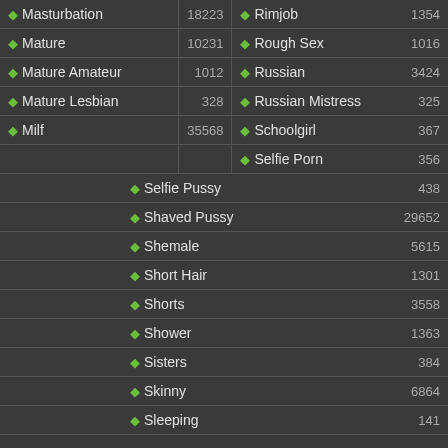| Tag | Count | Tag | Count |
| --- | --- | --- | --- |
| Masturbation | 18223 | Rimjob | 1354 |
| Mature | 10231 | Rough Sex | 1016 |
| Mature Amateur | 1012 | Russian | 3424 |
| Mature Lesbian | 328 | Russian Mistress | 325 |
| Milf | 35568 | Schoolgirl | 367 |
|  |  | Selfie Porn | 356 |
| Selfie Pussy | 438 |  |  |
| Shaved Pussy | 29652 |  |  |
| Shemale | 5615 |  |  |
| Short Hair | 1301 |  |  |
| Shorts | 3558 |  |  |
| Shower | 1363 |  |  |
| Sisters | 384 |  |  |
| Skinny | 6864 |  |  |
| Sleeping | 141 |  |  |